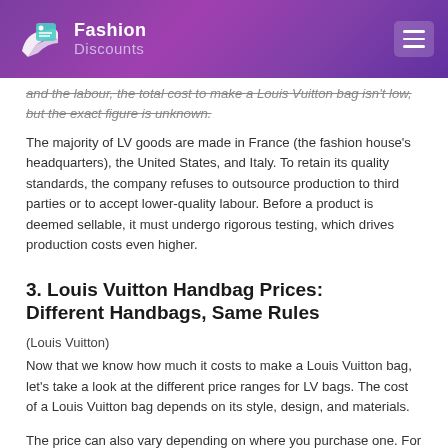Fashion Discounts
and the labour, the total cost to make a Louis Vuitton bag isn't low, but the exact figure is unknown.
The majority of LV goods are made in France (the fashion house's headquarters), the United States, and Italy. To retain its quality standards, the company refuses to outsource production to third parties or to accept lower-quality labour. Before a product is deemed sellable, it must undergo rigorous testing, which drives production costs even higher.
3. Louis Vuitton Handbag Prices: Different Handbags, Same Rules
(Louis Vuitton)
Now that we know how much it costs to make a Louis Vuitton bag, let's take a look at the different price ranges for LV bags. The cost of a Louis Vuitton bag depends on its style, design, and materials.
The price can also vary depending on where you purchase one. For instance, purchasing a Louis Vuitton bag from the flagship store in Paris will be less expensive than buying the